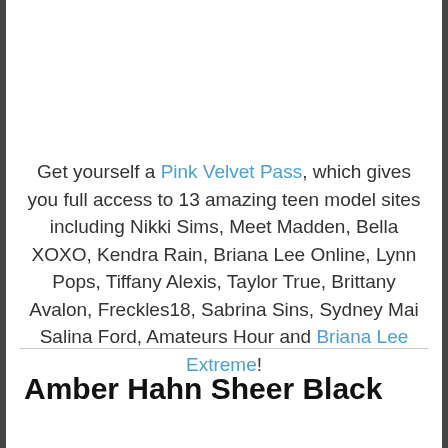Get yourself a Pink Velvet Pass, which gives you full access to 13 amazing teen model sites including Nikki Sims, Meet Madden, Bella XOXO, Kendra Rain, Briana Lee Online, Lynn Pops, Tiffany Alexis, Taylor True, Brittany Avalon, Freckles18, Sabrina Sins, Sydney Mai Salina Ford, Amateurs Hour and Briana Lee Extreme!
Amber Hahn Sheer Black